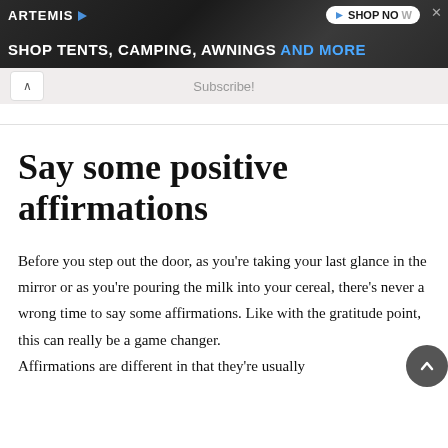[Figure (screenshot): Advertisement banner for Artemis: dark background with text 'SHOP TENTS, CAMPING, AWNINGS AND MORE', logo and Shop Now button]
[Figure (screenshot): Subscribe bar with collapse arrow and 'Subscribe!' text on light grey background]
Say some positive affirmations
Before you step out the door, as you're taking your last glance in the mirror or as you're pouring the milk into your cereal, there's never a wrong time to say some affirmations. Like with the gratitude point, this can really be a game changer.
Affirmations are different in that they're usually